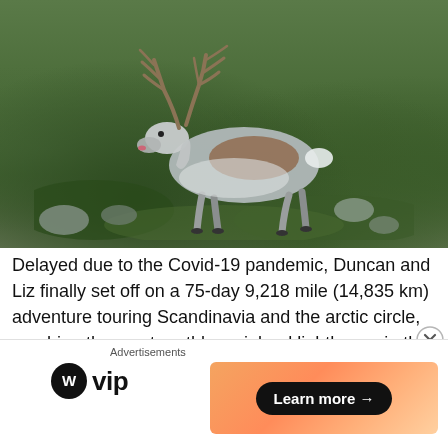[Figure (photo): A reindeer with large antlers walking across a rocky, moss-covered hillside in what appears to be Scandinavia or the Arctic. The animal is white and grey-brown, set against a green and rocky landscape background.]
Delayed due to the Covid-19 pandemic, Duncan and Liz finally set off on a 75-day 9,218 mile (14,835 km) adventure touring Scandinavia and the arctic circle, reaching the most northly mainland lighthouse in the world. This photobook blog covers the trip from the [cut off]
Advertisements